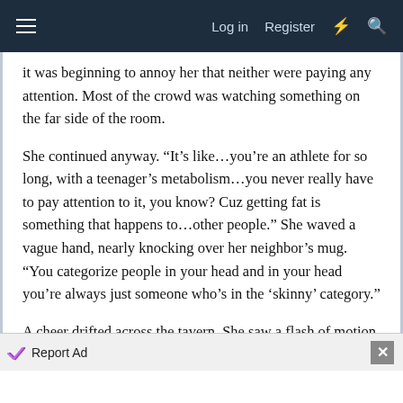Log in  Register
it was beginning to annoy her that neither were paying any attention. Most of the crowd was watching something on the far side of the room.
She continued anyway. “It’s like…you’re an athlete for so long, with a teenager’s metabolism…you never really have to pay attention to it, you know? Cuz getting fat is something that happens to…other people.” She waved a vague hand, nearly knocking over her neighbor’s mug. “You categorize people in your head and in your head you’re always just someone who’s in the ‘skinny’ category.”
A cheer drifted across the tavern. She saw a flash of motion reflected in the bottles behind the bar, but ignored it.
Report Ad